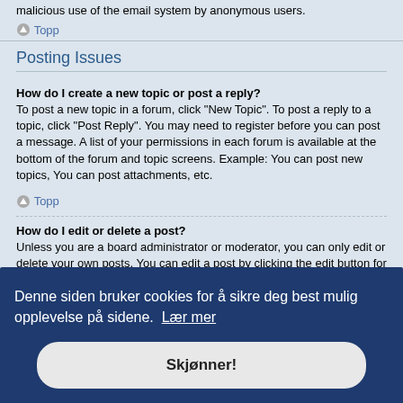malicious use of the email system by anonymous users.
Topp
Posting Issues
How do I create a new topic or post a reply?
To post a new topic in a forum, click "New Topic". To post a reply to a topic, click "Post Reply". You may need to register before you can post a message. A list of your permissions in each forum is available at the bottom of the forum and topic screens. Example: You can post new topics, You can post attachments, etc.
Topp
How do I edit or delete a post?
Unless you are a board administrator or moderator, you can only edit or delete your own posts. You can edit a post by clicking the edit button for the relevant ...eone has ...ow the ...dited it ...de a reply; ...they ...ion. ...s replied.
Topp
Denne siden bruker cookies for å sikre deg best mulig opplevelse på sidene. Lær mer
Skjønner!